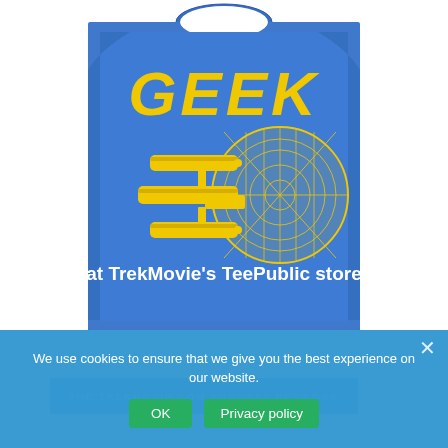[Figure (photo): Blue heather t-shirt with yellow 'GEEK' text in Star Trek style font, with a yellow USS Enterprise starship schematic design below, and white text reading 'at TrekMovie's TeePublic store']
We use cookies to ensure that we give you the best experience on our website.
OK    Privacy policy
THE TREKMOVIE.COM PODCAST NETWORK